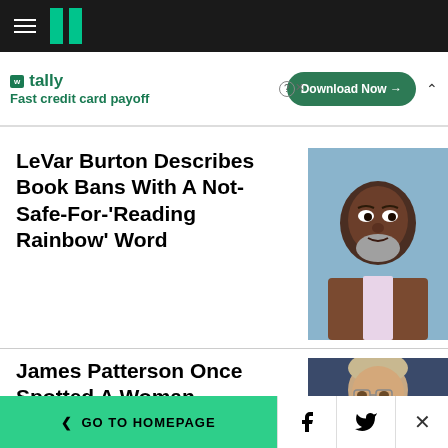HuffPost navigation header with hamburger menu and logo
[Figure (screenshot): Advertisement banner for Tally: 'Fast credit card payoff' with Download Now button]
LeVar Burton Describes Book Bans With A Not-Safe-For-'Reading Rainbow' Word
[Figure (photo): Headshot of LeVar Burton, Black man with grey beard in brown suit]
James Patterson Once Spotted A Woman Stealing
[Figure (photo): Headshot of James Patterson, older white man with glasses]
< GO TO HOMEPAGE | Facebook | Twitter | X